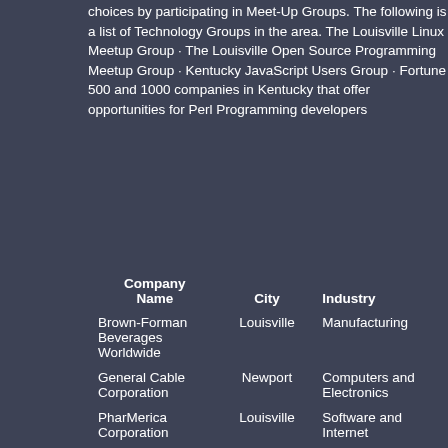choices by participating in Meet-Up Groups. The following is a list of Technology Groups in the area. The Louisville Linux Meetup Group · The Louisville Open Source Programming Meetup Group · Kentucky JavaScript Users Group · Fortune 500 and 1000 companies in Kentucky that offer opportunities for Perl Programming developers
| Company Name | City | Industry | Secondary Industry |
| --- | --- | --- | --- |
| Brown-Forman Beverages Worldwide | Louisville | Manufacturing | Alcoholic Beverages |
| General Cable Corporation | Newport | Computers and Electronics | Semiconductors and Microchip Manufacturing |
| PharMerica Corporation | Louisville | Software and Internet | Data Analysis Management and Storage |